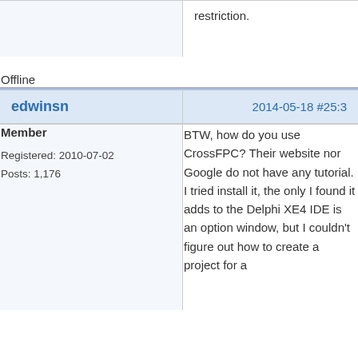restriction.
Offline
edwinsn
2014-05-18 #25:3
Member
Registered: 2010-07-02
Posts: 1,176
BTW, how do you use CrossFPC? Their website nor Google do not have any tutorial. I tried install it, the only I found it adds to the Delphi XE4 IDE is an option window, but I couldn't figure out how to create a project for a